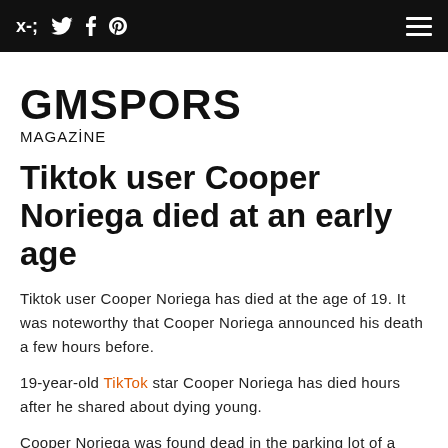𝐟 𝐭 𝐩 ≡
GMSPORS
MAGAZİNE
Tiktok user Cooper Noriega died at an early age
Tiktok user Cooper Noriega has died at the age of 19. It was noteworthy that Cooper Noriega announced his death a few hours before.
19-year-old TikTok star Cooper Noriega has died hours after he shared about dying young.
Cooper Noriega was found dead in the parking lot of a mall in Los Angeles. The police took all the necessary